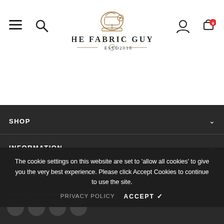[Figure (logo): The Fabric Guys logo with sewing machine icon, 'THE FABRIC GUYS' text, 'ESTD 2018']
SHOP
INFORMATION
CUSTOMER SERVICE
STAY CONNECTED
The cookie settings on this website are set to 'allow all cookies' to give you the very best experience. Please click Accept Cookies to continue to use the site.
PRIVACY POLICY   ACCEPT ✔